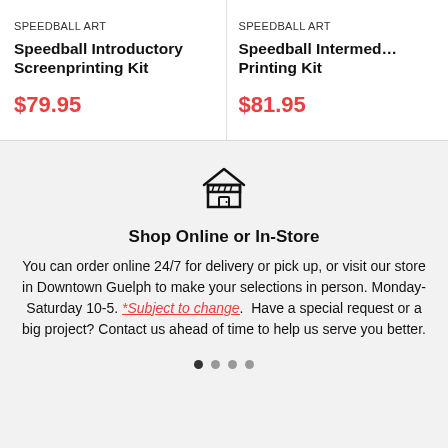SPEEDBALL ART
Speedball Introductory Screenprinting Kit
$79.95
SPEEDBALL ART
Speedball Intermediate Printing Kit
$81.95
[Figure (illustration): Store/shop icon — outline drawing of a small shop/storefront with a pitched roof and an awning with dashes]
Shop Online or In-Store
You can order online 24/7 for delivery or pick up, or visit our store in Downtown Guelph to make your selections in person. Monday-Saturday 10-5. *Subject to change.  Have a special request or a big project? Contact us ahead of time to help us serve you better.